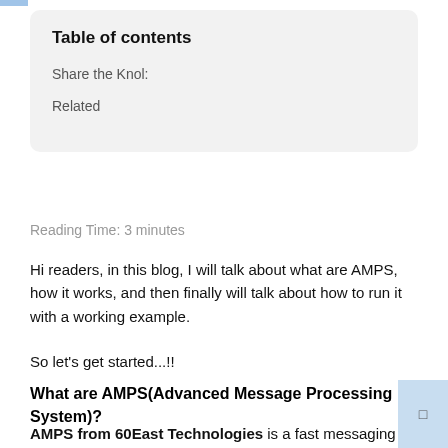Table of contents
Share the Knol:
Related
Reading Time: 3 minutes
Hi readers, in this blog, I will talk about what are AMPS, how it works, and then finally will talk about how to run it with a working example.
So let's get started...!!
What are AMPS(Advanced Message Processing System)?
AMPS from 60East Technologies is a fast messaging engine that supports both publish-subscribe